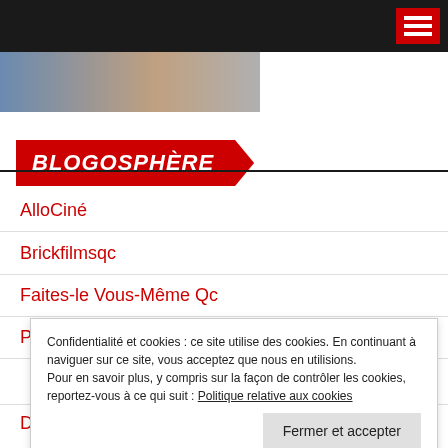Navigation bar with hamburger menu
[Figure (photo): Partial image visible at top left, person's face/shoulder cropped]
3 septembre 2022  0 [comment icon]
BLOGOSPHÈRE
AlloCiné
Brickfilmsqc
Faites-le Vous-Même Qc
Paranormalqc
Confidentialité et cookies : ce site utilise des cookies. En continuant à naviguer sur ce site, vous acceptez que nous en utilisions.
Pour en savoir plus, y compris sur la façon de contrôler les cookies, reportez-vous à ce qui suit : Politique relative aux cookies
Fermer et accepter
Dexter